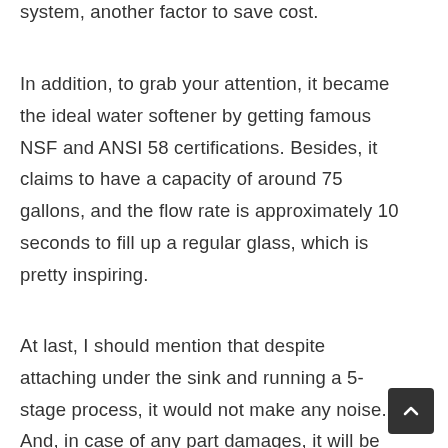system, another factor to save cost.
In addition, to grab your attention, it became the ideal water softener by getting famous NSF and ANSI 58 certifications. Besides, it claims to have a capacity of around 75 gallons, and the flow rate is approximately 10 seconds to fill up a regular glass, which is pretty inspiring.
At last, I should mention that despite attaching under the sink and running a 5-stage process, it would not make any noise. And, in case of any part damages, it will be readily available in